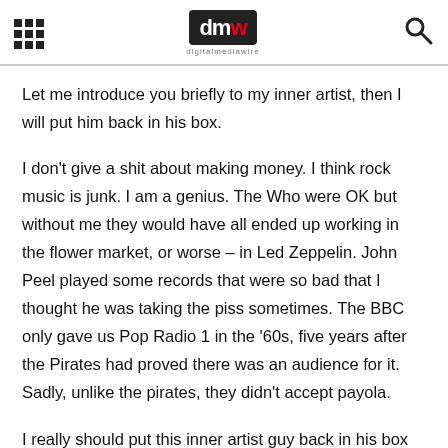digitalmediawire
Let me introduce you briefly to my inner artist, then I will put him back in his box.
I don't give a shit about making money. I think rock music is junk. I am a genius. The Who were OK but without me they would have all ended up working in the flower market, or worse – in Led Zeppelin. John Peel played some records that were so bad that I thought he was taking the piss sometimes. The BBC only gave us Pop Radio 1 in the '60s, five years after the Pirates had proved there was an audience for it. Sadly, unlike the pirates, they didn't accept payola.
I really should put this inner artist guy back in his box yes? Have